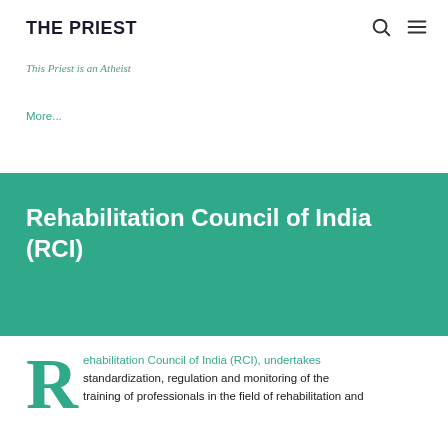THE PRIEST
This Priest is an Atheist
More...
Rehabilitation Council of India (RCI)
Rehabilitation Council of India (RCI), undertakes standardization, regulation and monitoring of the training of professionals in the field of rehabilitation and